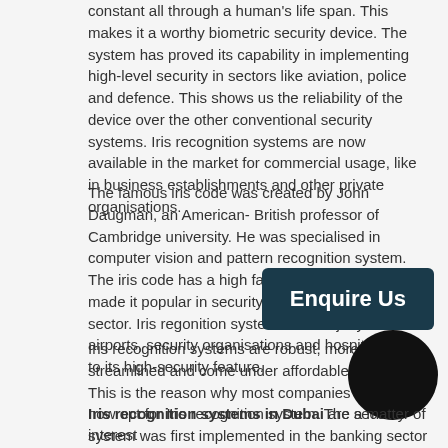constant all through a human's life span. This makes it a worthy biometric security device. The system has proved its capability in implementing high-level security in sectors like aviation, police and defence. This shows us the reliability of the device over the other conventional security systems. Iris recognition systems are now available in the market for commercial usage, like in business establishments and other private organisations.
The famous iris code was created by John Daugman, an American- British professor of Cambridge university. He was specialised in computer vision and pattern recognition system. The iris code has a high false match rating which made it popular in security system manufacturing sector. Iris regonition systems are majorly used in airports, security organisations and hospitals due to its high-security feature.
Iris recognition systems are robust, more streamlined and come under affordable budget. This is the reason why most companies in Dubai now opt for Iris recognition system. The security system was first implemented in the banking sector and was found to be of great advantage and a necessity. The use of the biometric system in bank ATM has gained customer trust, safe and paperless banking environment.
Iris recognition systems in Dubai are a matter of interest